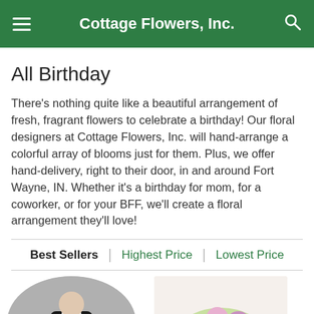Cottage Flowers, Inc.
All Birthday
There's nothing quite like a beautiful arrangement of fresh, fragrant flowers to celebrate a birthday! Our floral designers at Cottage Flowers, Inc. will hand-arrange a colorful array of blooms just for them. Plus, we offer hand-delivery, right to their door, in and around Fort Wayne, IN. Whether it's a birthday for mom, for a coworker, or for your BFF, we'll create a floral arrangement they'll love!
Best Sellers | Highest Price | Lowest Price
[Figure (photo): Circular product image showing a person in a black suit holding a pink flower]
[Figure (photo): Product image showing a pink and purple flower arrangement with daisies]